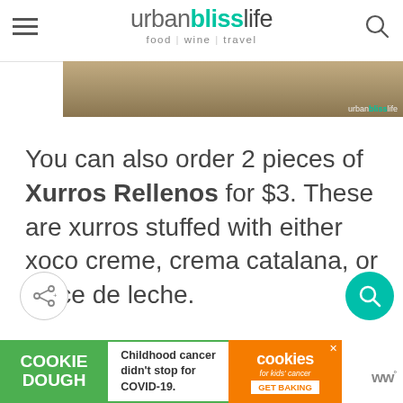urbanblisslife food | wine | travel
[Figure (photo): Partial view of a food photo at the top of the page with urbanblisslife watermark]
You can also order 2 pieces of Xurros Rellenos for $3. These are xurros stuffed with either xoco creme, crema catalana, or dulce de leche.
[Figure (other): Share icon button (circle with share symbol)]
[Figure (other): Search FAB button (teal circle with magnifying glass)]
[Figure (other): Cookie Dough advertisement banner: COOKIE DOUGH - Childhood cancer didn't stop for COVID-19. cookies for kids cancer GET BAKING]